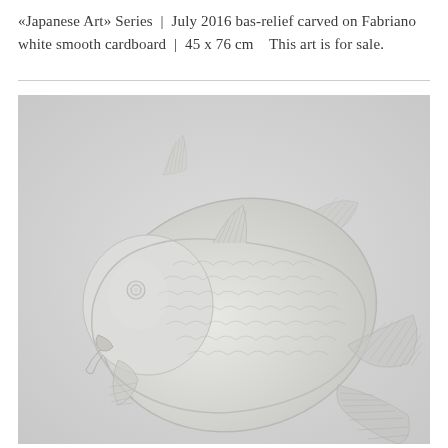«Japanese Art» Series  |  July 2016 bas-relief carved on Fabriano white smooth cardboard  |  45 x 76 cm   This art is for sale.
[Figure (photo): A bas-relief paper carving of a koi fish on white Fabriano cardboard, showing intricate textured scales, fins, and tail rendered in relief. Watermark text reads: domitilla biondi | paper carving | paper-poetry.com]